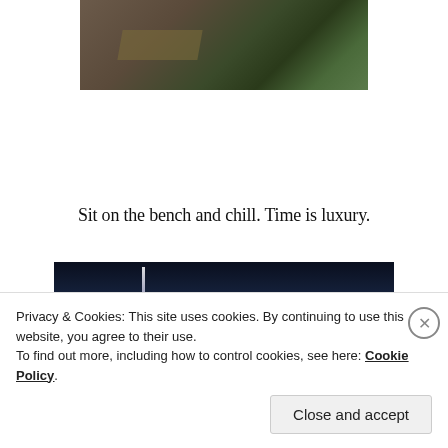[Figure (photo): Outdoor photo showing a wooden bench and stone steps with sunlight and grass in background]
Sit on the bench and chill. Time is luxury.
[Figure (photo): Night sky photo with a bright streak of light (possibly a meteor or rocket)]
Privacy & Cookies: This site uses cookies. By continuing to use this website, you agree to their use.
To find out more, including how to control cookies, see here: Cookie Policy
Close and accept